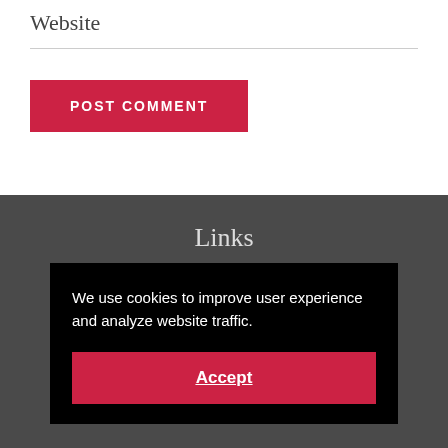Website
POST COMMENT
Links
We use cookies to improve user experience and analyze website traffic.
Accept